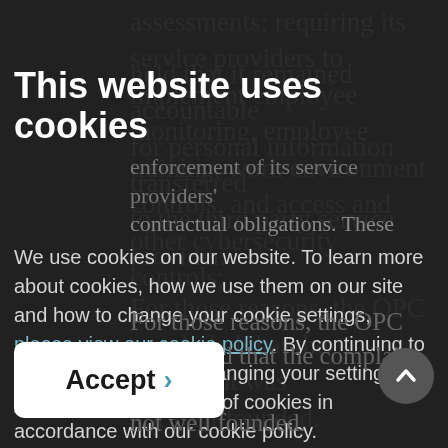assessments; requiring its service providers to implement employee monitoring, employee training, work environment controls, and access and other cybersecurity controls;
This website uses cookies
enforcement of its service providers' contractual obligations. These
We use cookies on our website. To learn more about cookies, how we use them on our site and how to change your cookie settings, please view our cookie policy. By continuing to use this site without changing your settings, you consent to our use of cookies in accordance with our cookie policy.
held that it remained accountable for personal information transferred to the third party service provider.
For those reasons, the OPC concluded that the complaint was not well founded.
Accept >